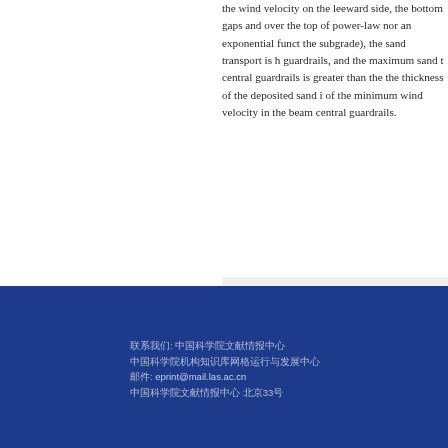the wind velocity on the leeward side, the bottom gaps and over the top of power-law nor an exponential function, the subgrade), the sand transport is highlighted by guardrails, and the maximum sand transport of central guardrails is greater than the thickness of the deposited sand is of the minimum wind velocity in the beam central guardrails.
[Figure (other): Gray shaded bar or image placeholder in right column]
联系我们: 中国科学院文献情报中心
中国科学院机构知识库网格运行与发展中心
邮件: eprint@mail.las.ac.cn
中国科学院文献情报中心 北京33号